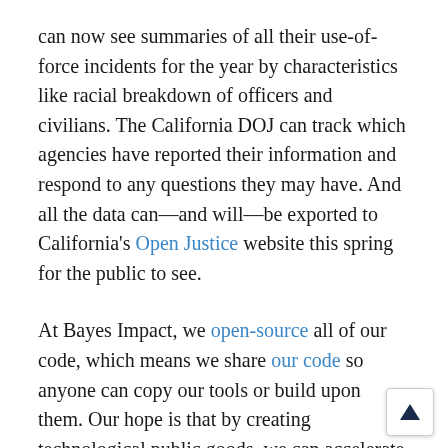can now see summaries of all their use-of-force incidents for the year by characteristics like racial breakdown of officers and civilians. The California DOJ can track which agencies have reported their information and respond to any questions they may have. And all the data can—and will—be exported to California's Open Justice website this spring for the public to see.
At Bayes Impact, we open-source all of our code, which means we share our code so anyone can copy our tools or build upon them. Our hope is that by creating technological public goods, we can accelerate the rate at which others can build the digital infrastructure the world needs.
It is still too early to declare URSUS a success. Only